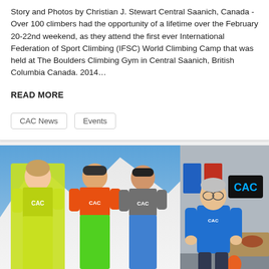Story and Photos by Christian J. Stewart Central Saanich, Canada - Over 100 climbers had the opportunity of a lifetime over the February 20-22nd weekend, as they attend the first ever International Federation of Sport Climbing (IFSC) World Climbing Camp that was held at The Boulders Climbing Gym in Central Saanich, British Columbia Canada. 2014…
READ MORE
CAC News
Events
[Figure (photo): A composite photo: on the left side, three athletes wearing colorful CAC branded climbing/outdoor apparel (yellow-green, orange, and gray outfits) pose in front of a snowy mountain backdrop. On the right side, a smiling man in a blue CAC jacket stands in an office setting with a CAC logo sign on the wall.]